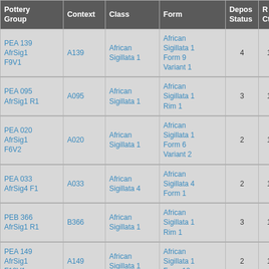| Pottery Group | Context | Class | Form | Depos Status | R Ct | R EVE |
| --- | --- | --- | --- | --- | --- | --- |
| PEA 139 AfrSig1 F9V1 | A139 | African Sigillata 1 | African Sigillata 1 Form 9 Variant 1 | 4 | 1 | 1 |
| PEA 095 AfrSig1 R1 | A095 | African Sigillata 1 | African Sigillata 1 Rim 1 | 3 | 1 |  |
| PEA 020 AfrSig1 F6V2 | A020 | African Sigillata 1 | African Sigillata 1 Form 6 Variant 2 | 2 | 1 | 1 |
| PEA 033 AfrSig4 F1 | A033 | African Sigillata 4 | African Sigillata 4 Form 1 | 2 | 1 | 1 |
| PEB 366 AfrSig1 R1 | B366 | African Sigillata 1 | African Sigillata 1 Rim 1 | 3 | 1 |  |
| PEA 149 AfrSig1 F12V1 | A149 | African Sigillata 1 | African Sigillata 1 Form 12 | 2 | 1 | 1 |